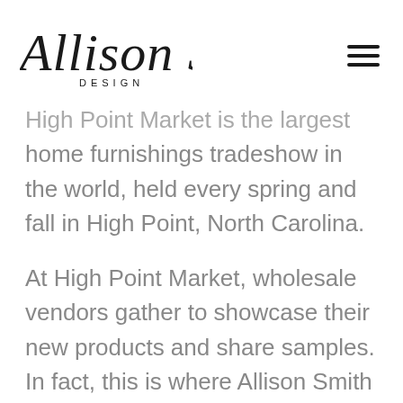Allison Smith DESIGN
High Point Market is the largest home furnishings tradeshow in the world, held every spring and fall in High Point, North Carolina.
At High Point Market, wholesale vendors gather to showcase their new products and share samples. In fact, this is where Allison Smith Design develops relationships with